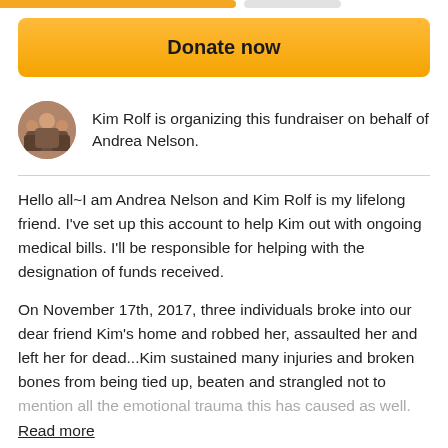[Figure (other): Top progress bar with orange filled portion and gray unfilled portion]
Donate now
Kim Rolf is organizing this fundraiser on behalf of Andrea Nelson.
Hello all~I am Andrea Nelson and Kim Rolf is my lifelong friend. I've set up this account to help Kim out with ongoing medical bills. I'll be responsible for helping with the designation of funds received.
On November 17th, 2017, three individuals broke into our dear friend Kim's home and robbed her, assaulted her and left her for dead...Kim sustained many injuries and broken bones from being tied up, beaten and strangled not to mention all the emotional trauma this has caused as well.
Read more